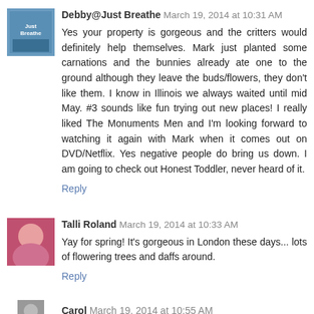[Figure (photo): Avatar image for Debby@Just Breathe blog]
Debby@Just Breathe March 19, 2014 at 10:31 AM
Yes your property is gorgeous and the critters would definitely help themselves. Mark just planted some carnations and the bunnies already ate one to the ground although they leave the buds/flowers, they don't like them. I know in Illinois we always waited until mid May. #3 sounds like fun trying out new places! I really liked The Monuments Men and I'm looking forward to watching it again with Mark when it comes out on DVD/Netflix. Yes negative people do bring us down. I am going to check out Honest Toddler, never heard of it.
Reply
[Figure (photo): Avatar image for Talli Roland]
Talli Roland March 19, 2014 at 10:33 AM
Yay for spring! It's gorgeous in London these days... lots of flowering trees and daffs around.
Reply
Carol March 19, 2014 at 10:55 AM